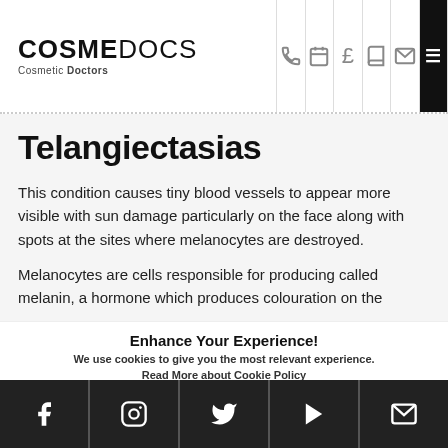COSMEDOCS Cosmetic Doctors
Telangiectasias
This condition causes tiny blood vessels to appear more visible with sun damage particularly on the face along with spots at the sites where melanocytes are destroyed.
Melanocytes are cells responsible for producing called melanin, a hormone which produces colouration on the
Enhance Your Experience!
We use cookies to give you the most relevant experience.
Read More about Cookie Policy
Social media icons: Facebook, Instagram, Twitter, YouTube, Email